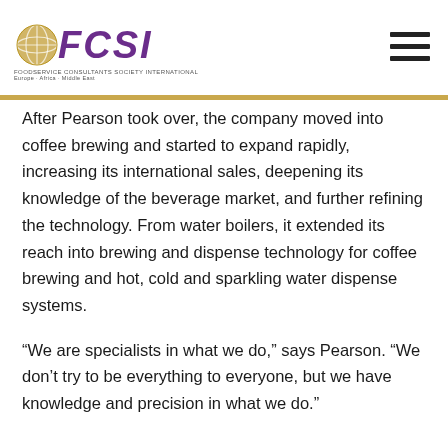FCSI logo header with hamburger menu
After Pearson took over, the company moved into coffee brewing and started to expand rapidly, increasing its international sales, deepening its knowledge of the beverage market, and further refining the technology. From water boilers, it extended its reach into brewing and dispense technology for coffee brewing and hot, cold and sparkling water dispense systems.
“We are specialists in what we do,” says Pearson. “We don’t try to be everything to everyone, but we have knowledge and precision in what we do.”
Precision by design
Today, Marco designs, manufactures, sells and services precise, energy-efficient and innovative water boilers and